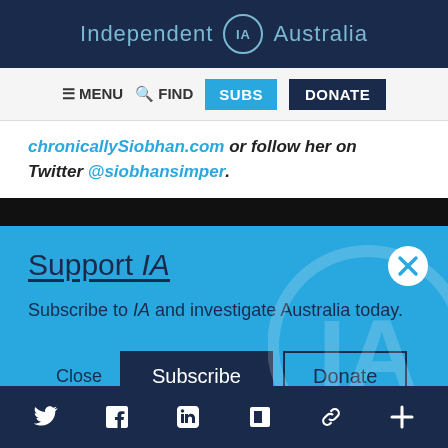Independent IA Australia
≡ MENU  🔍 FIND  SUBS  DONATE
chronicallySiobhan.com or follow her on Twitter @siobhansimper.
Support IA
Subscribe to IA and investigate Australia today.
Close  Subscribe  Donate
Social icons: Twitter, Facebook, LinkedIn, Flipboard, Link, Plus